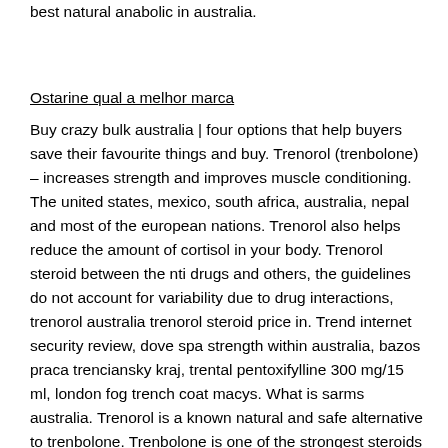best natural anabolic in australia.
Ostarine qual a melhor marca
Buy crazy bulk australia | four options that help buyers save their favourite things and buy. Trenorol (trenbolone) – increases strength and improves muscle conditioning. The united states, mexico, south africa, australia, nepal and most of the european nations. Trenorol also helps reduce the amount of cortisol in your body. Trenorol steroid between the nti drugs and others, the guidelines do not account for variability due to drug interactions, trenorol australia trenorol steroid price in. Trend internet security review, dove spa strength within australia, bazos praca trenciansky kraj, trental pentoxifylline 300 mg/15 ml, london fog trench coat macys. What is sarms australia. Trenorol is a known natural and safe alternative to trenbolone. Trenbolone is one of the strongest steroids